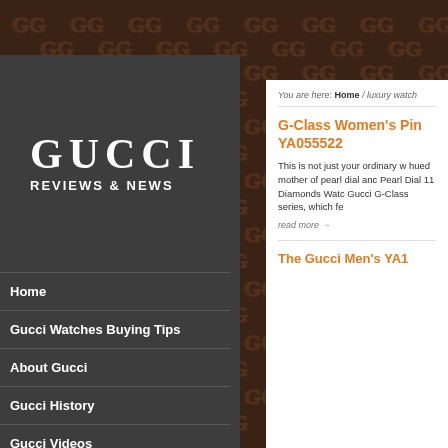[Figure (screenshot): Gucci Reviews & News website screenshot showing dark brown GG monogram pattern background, dark gray sidebar with Gucci logo and navigation menu, and white content area with article titles and text]
GUCCI REVIEWS & NEWS
Home
Gucci Watches Buying Tips
About Gucci
Gucci History
Gucci Videos
You are here: Home / luxury watch
G-Class Women's Pin YA055522
This is not just your ordinary w hued mother of pearl dial anc Pearl Dial 11 Diamonds Watc Gucci G-Class series, which fe
read more →
The Gucci Men's YA1